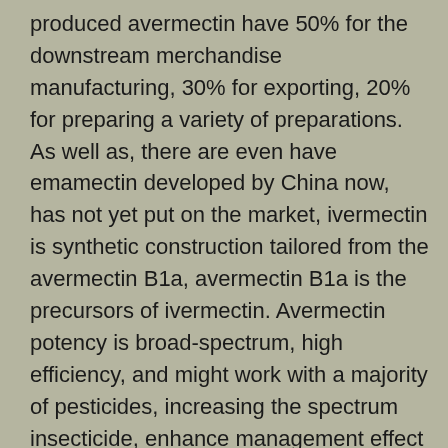produced avermectin have 50% for the downstream merchandise manufacturing, 30% for exporting, 20% for preparing a variety of preparations. As well as, there are even have emamectin developed by China now, has not yet put on the market, ivermectin is synthetic construction tailored from the avermectin B1a, avermectin B1a is the precursors of ivermectin. Avermectin potency is broad-spectrum, high efficiency, and might work with a majority of pesticides, increasing the spectrum insecticide, enhance management effect and insecticidal velocity, is now the most important amount, one of many widest vary of pesticides in China. Avermectin might be applied to vegetables, fruit, wheat, rice, cotton, tobacco and other crops pest control, can used along with most pesticide, develop insecticidal spectrum and enhance the management impact and pace. However, because of the resistance production fee of bio-pesticides is quicker than chemical pesticides, coupled with medicine unscientific, pest resistance to abamectin was growing, the use impact